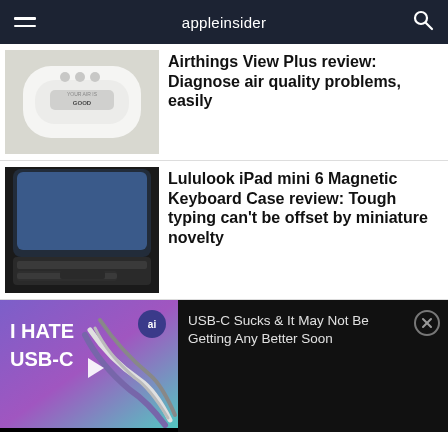appleinsider
[Figure (photo): White Airthings View Plus air quality monitor device with 'YOUR AIR IS GOOD' display]
Airthings View Plus review: Diagnose air quality problems, easily
[Figure (photo): Lululook iPad mini 6 Magnetic Keyboard Case — black keyboard case with iPad on dark background]
Lululook iPad mini 6 Magnetic Keyboard Case review: Tough typing can't be offset by miniature novelty
[Figure (screenshot): Video thumbnail: 'I HATE USB-C!' with USB-C cables in hand, purple/blue gradient background]
USB-C Sucks & It May Not Be Getting Any Better Soon